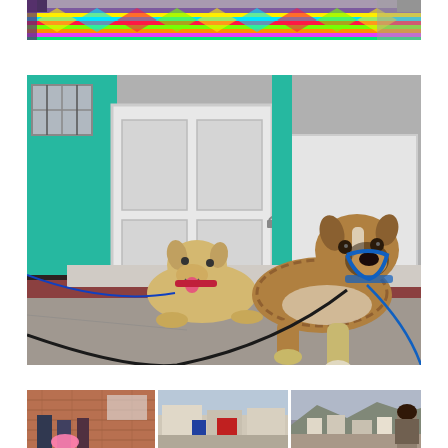[Figure (photo): Top portion of a colorful patterned carpet/tapestry on a street, with people in purple clothing visible. Bright neon colors including pink, yellow, green, and blue in a geometric diamond pattern.]
[Figure (photo): Two dogs on leashes resting on a step in front of a white door with teal/turquoise painted walls. One smaller tan dog with a red collar, and one larger brindle/tan dog with a blue harness lying down on a concrete step.]
[Figure (photo): Bottom portion showing a collage of three street scene photos: left shows a brick building with people and a pink floatie; center shows a person in a street with modest buildings; right shows a hillside town view with a woman's back visible.]